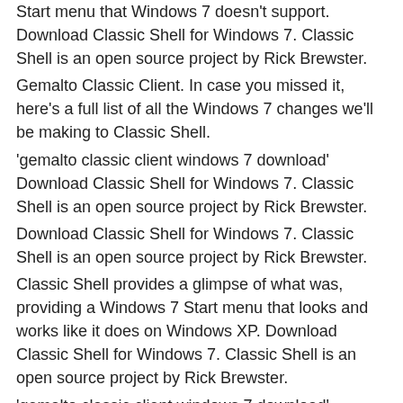Start menu that Windows 7 doesn't support. Download Classic Shell for Windows 7. Classic Shell is an open source project by Rick Brewster.
Gemalto Classic Client. In case you missed it, here's a full list of all the Windows 7 changes we'll be making to Classic Shell.
'gemalto classic client windows 7 download' Download Classic Shell for Windows 7. Classic Shell is an open source project by Rick Brewster.
Download Classic Shell for Windows 7. Classic Shell is an open source project by Rick Brewster.
Classic Shell provides a glimpse of what was, providing a Windows 7 Start menu that looks and works like it does on Windows XP. Download Classic Shell for Windows 7. Classic Shell is an open source project by Rick Brewster.
'gemalto classic client windows 7 download' Download Classic Shell for Windows 7.